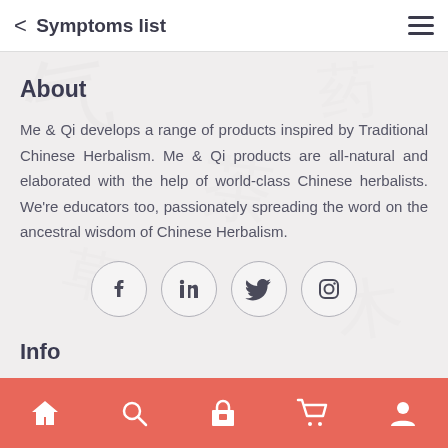< Symptoms list
About
Me & Qi develops a range of products inspired by Traditional Chinese Herbalism. Me & Qi products are all-natural and elaborated with the help of world-class Chinese herbalists. We're educators too, passionately spreading the word on the ancestral wisdom of Chinese Herbalism.
[Figure (infographic): Four social media icon circles in a row: Facebook, LinkedIn, Twitter, Instagram]
Info
> Milk Boost Tea
Home | Search | Store | Cart | Profile